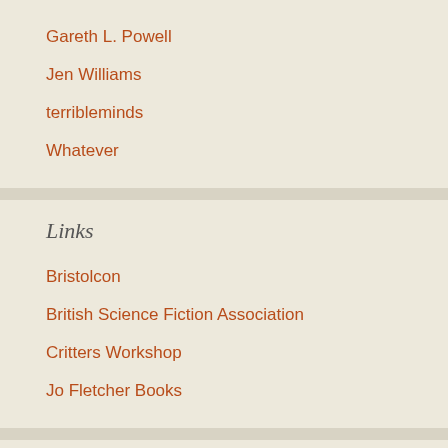Gareth L. Powell
Jen Williams
terribleminds
Whatever
Links
Bristolcon
British Science Fiction Association
Critters Workshop
Jo Fletcher Books
Archives